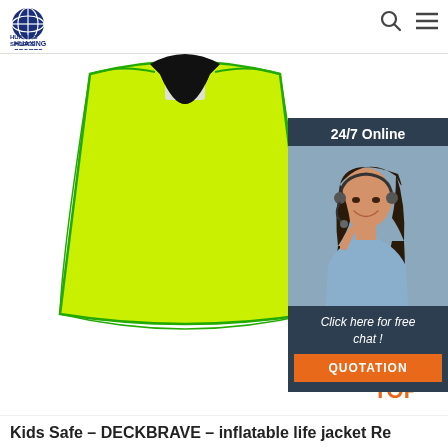Huaxing Sports
[Figure (photo): Neon yellow-green inflatable life jacket/vest laid flat on white background, showing label at collar]
[Figure (infographic): 24/7 Online chat widget with dark navy background, photo of female customer service agent with headset smiling, text 'Click here for free chat!' and orange QUOTATION button]
[Figure (illustration): Orange dotted triangle arrow pointing up with 'TOP' text in orange below it]
Kids Safe - DECKBRAVE - inflatable life jacket Re